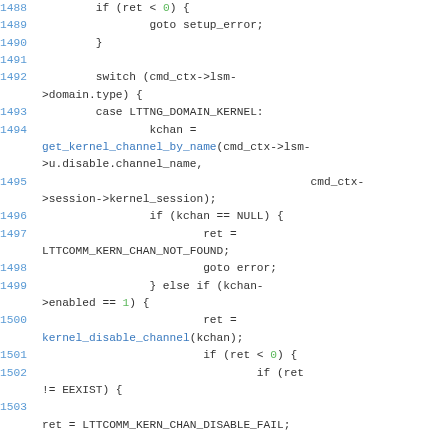Source code listing lines 1488-1503, C kernel channel management code